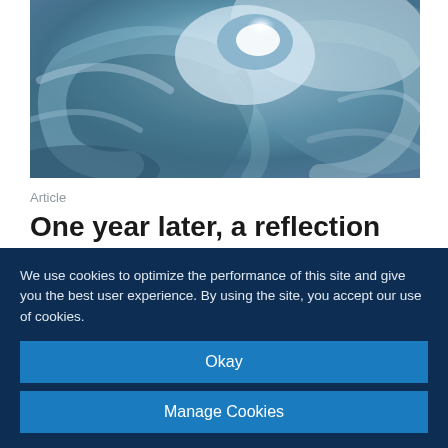[Figure (photo): Aerial satellite view of a hurricane or winter storm, showing swirling cloud patterns with a bright center eye and blue-grey cloud bands]
Article
One year later, a reflection on Winter Storm Uri
We use cookies to optimize the performance of this site and give you the best user experience. By using the site, you accept our use of cookies.
Okay
Manage Cookies